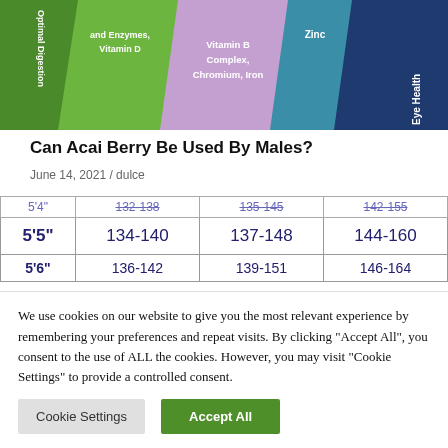[Figure (infographic): Colorful segmented infographic showing health benefit categories: Optimal Digestion (dark green), and Enzymes/Vitamin D (light green), Vitamin B Complex/Chromium/Iron (lavender), Zinc (teal), Eye Health (navy)]
Can Acai Berry Be Used By Males?
June 14, 2021 / dulce
| 5'4" | 132-138 | 135-145 | 142-155 |
| 5'5" | 134-140 | 137-148 | 144-160 |
| 5'6" | 136-142 | 139-151 | 146-164 |
We use cookies on our website to give you the most relevant experience by remembering your preferences and repeat visits. By clicking "Accept All", you consent to the use of ALL the cookies. However, you may visit "Cookie Settings" to provide a controlled consent.